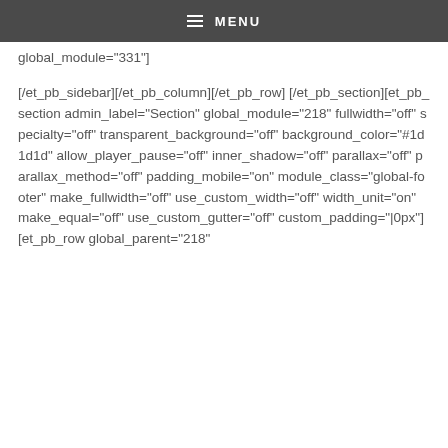MENU
global_module="331"]
[/et_pb_sidebar][/et_pb_column][/et_pb_row][/et_pb_section][et_pb_section admin_label="Section" global_module="218" fullwidth="off" specialty="off" transparent_background="off" background_color="#1d1d1d" allow_player_pause="off" inner_shadow="off" parallax="off" parallax_method="off" padding_mobile="on" module_class="global-footer" make_fullwidth="off" use_custom_width="off" width_unit="on" make_equal="off" use_custom_gutter="off" custom_padding="|0px"][et_pb_row global_parent="218"